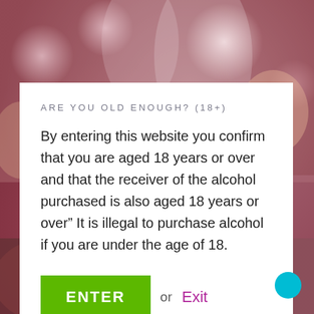[Figure (photo): Blurred background photo of people celebrating with wine glasses, warm pinkish-red bokeh tones. A dark wine bottle is visible at the bottom.]
ARE YOU OLD ENOUGH? (18+)
By entering this website you confirm that you are aged 18 years or over and that the receiver of the alcohol purchased is also aged 18 years or over" It is illegal to purchase alcohol if you are under the age of 18.
ENTER  or  Exit